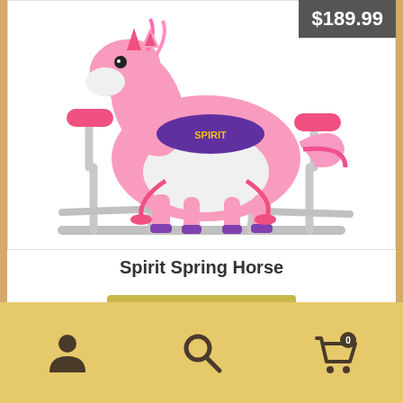[Figure (photo): Pink plush Spirit Spring Horse toy on a silver metal spring stand frame with red/pink padded handles and pink rope stirrups. The horse has a purple saddle with 'SPIRIT' written in yellow letters.]
$189.99
Spirit Spring Horse
[Figure (infographic): Bottom navigation bar with three icons: person/account icon on left, search magnifying glass icon in center, shopping cart with '0' badge on right.]